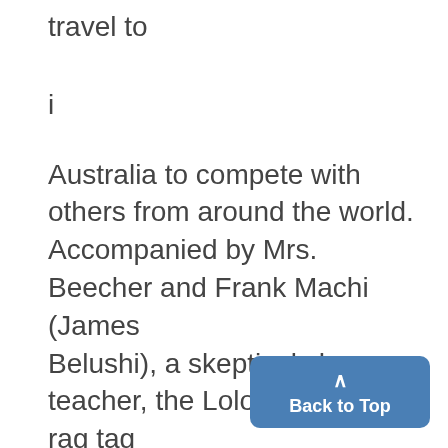travel to
i
Australia to compete with others from around the world. Accompanied by Mrs. Beecher and Frank Machi (James Belushi), a skeptical shop teacher, the Lolos and their rag tag automobile are ridiculed by their competitors, who are spon- sored by renowned universities corporations. Despite all
Back to Top